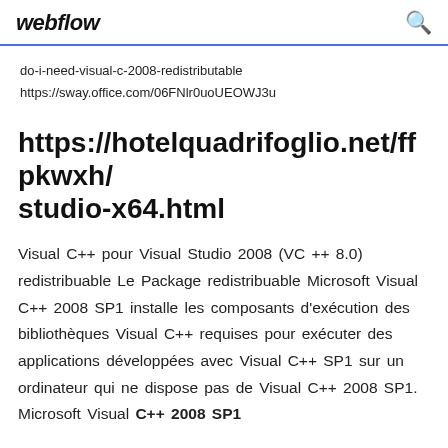webflow
do-i-need-visual-c-2008-redistributable
https://sway.office.com/06FNlr0uoUEOWJ3u
https://hotelquadrifoglio.net/ffpkwxh/studio-x64.html
Visual C++ pour Visual Studio 2008 (VC ++ 8.0) redistribuable Le Package redistribuable Microsoft Visual C++ 2008 SP1 installe les composants d'exécution des bibliothèques Visual C++ requises pour exécuter des applications développées avec Visual C++ SP1 sur un ordinateur qui ne dispose pas de Visual C++ 2008 SP1. Microsoft Visual C++ 2008 SP1